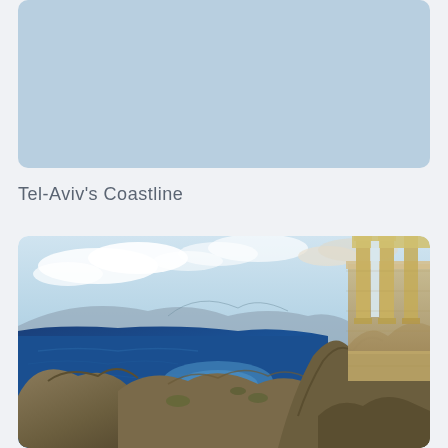[Figure (photo): Light blue placeholder image area with rounded corners, partially visible at top of page]
Tel-Aviv's Coastline
[Figure (photo): Coastal landscape photograph showing ancient Greek or Roman ruins with columns on rocky cliffs overlooking a deep blue sea bay, with mountains in the background and partly cloudy sky]